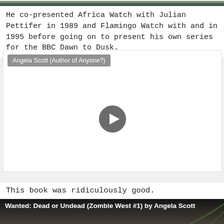[Figure (photo): Partial image of nature/wildlife scene at top of page]
He co-presented Africa Watch with Julian Pettifer in 1989 and Flamingo Watch with and in 1995 before going on to present his own series for the BBC Dawn to Dusk.
[Figure (screenshot): Video player for Angela Scott (Author of Anyone?) with play button]
This book was ridiculously good.
[Figure (photo): Book cover image for Wanted: Dead or Undead (Zombie West #1) by Angela Scott showing a young woman with plants]